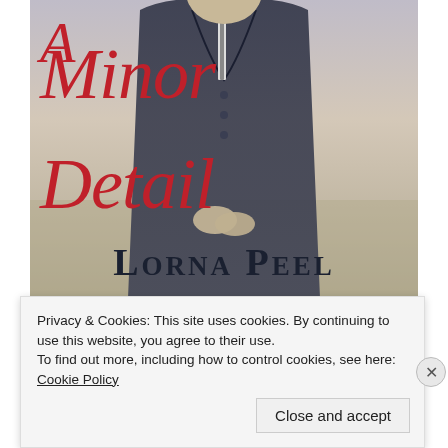[Figure (illustration): Book cover for 'A Minor Detail' by Lorna Peel. Shows a man in a dark double-breasted coat with hands clasped, set against a muted grey-beige atmospheric background. Title text in large red italic serif font, author name in large dark small-caps serif font at the bottom.]
Privacy & Cookies: This site uses cookies. By continuing to use this website, you agree to their use.
To find out more, including how to control cookies, see here:
Cookie Policy
Close and accept